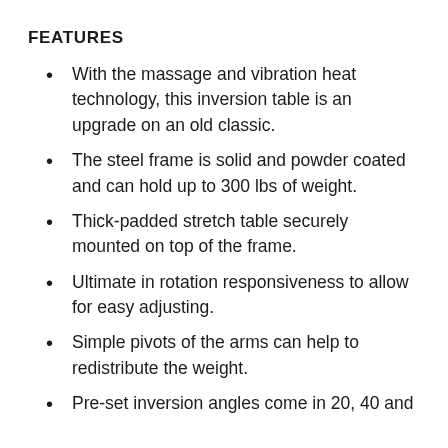FEATURES
With the massage and vibration heat technology, this inversion table is an upgrade on an old classic.
The steel frame is solid and powder coated and can hold up to 300 lbs of weight.
Thick-padded stretch table securely mounted on top of the frame.
Ultimate in rotation responsiveness to allow for easy adjusting.
Simple pivots of the arms can help to redistribute the weight.
Pre-set inversion angles come in 20, 40 and